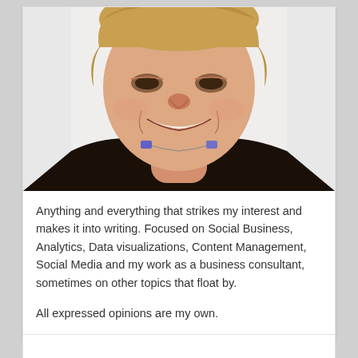[Figure (photo): Portrait photo of a smiling woman with short blonde hair wearing a dark top and a purple necklace, photographed against a light background]
Anything and everything that strikes my interest and makes it into writing. Focused on Social Business, Analytics, Data visualizations, Content Management, Social Media and my work as a business consultant, sometimes on other topics that float by.

All expressed opinions are my own.